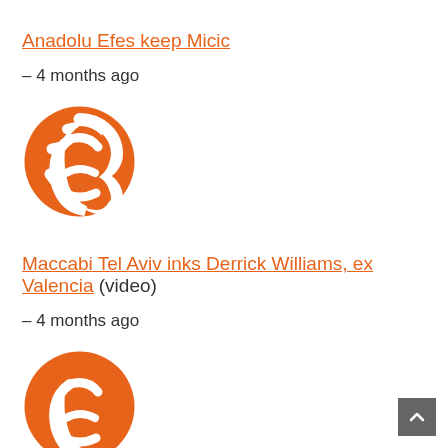Anadolu Efes keep Micic
– 4 months ago
[Figure (logo): EuroLeague basketball orange logo — stylized swoosh letter E in a circle]
Maccabi Tel Aviv inks Derrick Williams, ex Valencia (video)
– 4 months ago
[Figure (logo): EuroLeague basketball orange logo — stylized swoosh letter E in a circle]